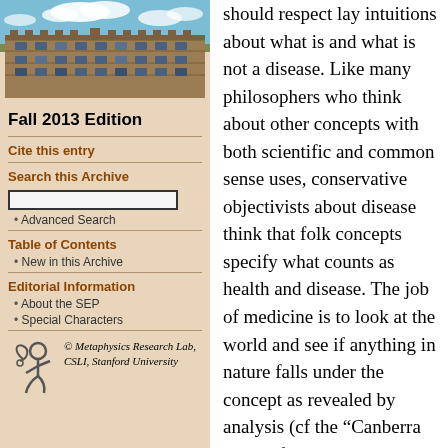[Figure (photo): Aerial/ground view of a stone university building with gothic architecture under blue sky with clouds]
Fall 2013 Edition
Cite this entry
Search this Archive
Advanced Search
Table of Contents
New in this Archive
Editorial Information
About the SEP
Special Characters
[Figure (logo): Metaphysics Research Lab, CSLI, Stanford University logo with stylized figure]
should respect lay intuitions about what is and what is not a disease. Like many philosophers who think about other concepts with both scientific and common sense uses, conservative objectivists about disease think that folk concepts specify what counts as health and disease. The job of medicine is to look at the world and see if anything in nature falls under the concept as revealed by analysis (cf the “Canberra plan” of Jackson 1998) For revisionists, this understanding of common sense’s relations to science is needlessly submissive to folk intuitions.